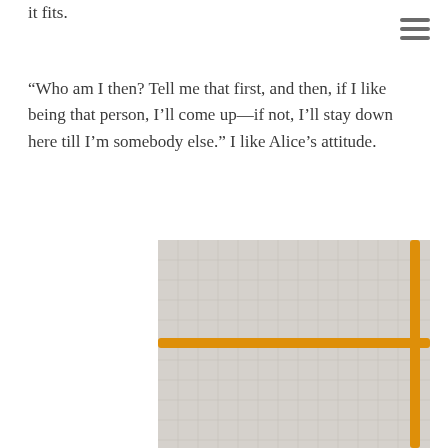it fits.
“Who am I then? Tell me that first, and then, if I like being that person, I’ll come up—if not, I’ll stay down here till I’m somebody else.” I like Alice’s attitude.
[Figure (photo): Photograph of a white quilted fabric/blanket with orange/yellow fuzzy decorative border lines forming a grid pattern, photographed against white background.]